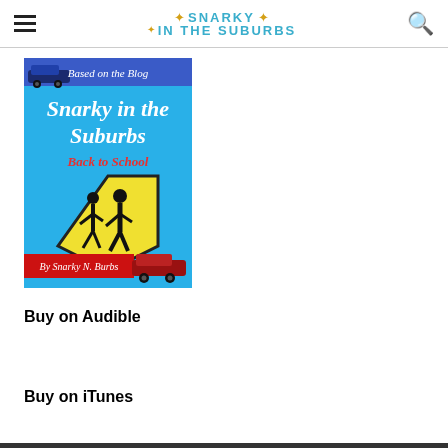Snarky in the Suburbs
[Figure (illustration): Book cover for 'Snarky in the Suburbs Back to School' by Snarky N. Burbs. Blue background with title text, a school crossing sign showing two children silhouettes, minivans at top and bottom, red banner at bottom, and 'Based on the Blog' banner at top.]
Buy on Audible
Buy on iTunes